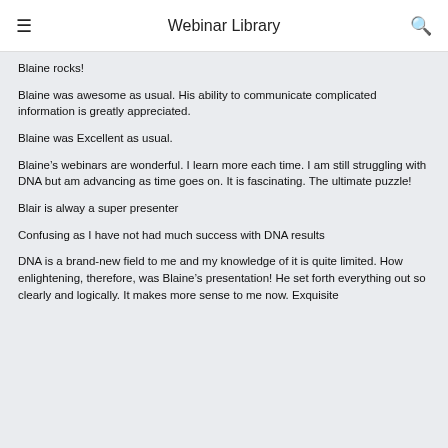Webinar Library
Blaine rocks!
Blaine was awesome as usual. His ability to communicate complicated information is greatly appreciated.
Blaine was Excellent as usual.
Blaine's webinars are wonderful. I learn more each time. I am still struggling with DNA but am advancing as time goes on. It is fascinating. The ultimate puzzle!
Blair is alway a super presenter
Confusing as I have not had much success with DNA results
DNA is a brand-new field to me and my knowledge of it is quite limited. How enlightening, therefore, was Blaine's presentation! He set forth everything out so clearly and logically. It makes more sense to me now. Exquisite